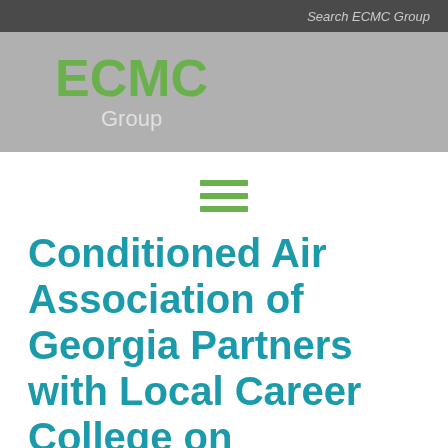Search ECMC Group
[Figure (logo): ECMC Group logo with green ECMC text and light gray Group text on gray background]
[Figure (other): Hamburger menu icon with three green horizontal lines]
Conditioned Air Association of Georgia Partners with Local Career College on Workforce Development